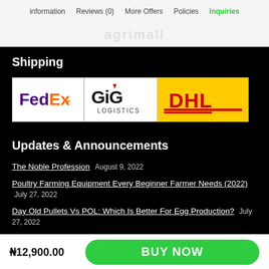information | Reviews (0) | More Offers | Policies | Inquiries
Shipping
[Figure (logo): Three shipping carrier logos side by side: FedEx (purple and orange), GIG Logistics (black and white), DHL (red and yellow)]
Updates & Announcements
The Noble Profession August 9, 2022
Poultry Farming Equipment Every Beginner Farmer Needs (2022) July 27, 2022
Day Old Pullets Vs POL: Which Is Better For Egg Production? July 27, 2022
₦12,900.00  BUY NOW